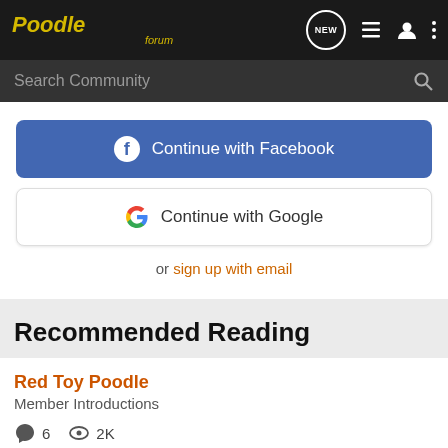Poodle forum
Search Community
Continue with Facebook
Continue with Google
or sign up with email
Recommended Reading
Red Toy Poodle
Member Introductions
6  2K